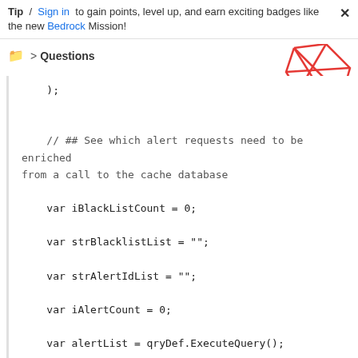Tip / Sign in to gain points, level up, and earn exciting badges like the new Bedrock Mission!
Questions
[Figure (illustration): Decorative geometric graphic with red lines forming a diamond/polygon shape and an orange circle, positioned in top-right area]
); // ## See which alert requests need to be enriched from a call to the cache database var iBlackListCount = 0; var strBlacklistList = ""; var strAlertIdList = ""; var iAlertCount = 0; var alertList = qryDef.ExecuteQuery(); for each (var alert in alertList, alert)